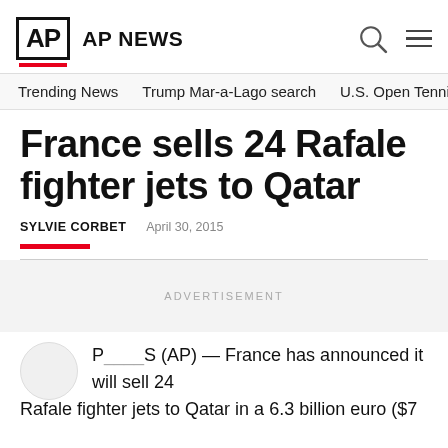AP AP NEWS
Trending News   Trump Mar-a-Lago search   U.S. Open Tennis
France sells 24 Rafale fighter jets to Qatar
SYLVIE CORBET   April 30, 2015
ADVERTISEMENT
Paris (AP) — France has announced it will sell 24 Rafale fighter jets to Qatar in a 6.3 billion euro ($7...